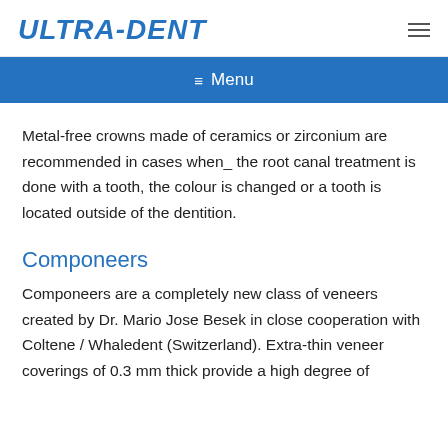ULTRA-DENT
Menu
Metal-free crowns made of ceramics or zirconium are recommended in cases when the root canal treatment is done with a tooth, the colour is changed or a tooth is located outside of the dentition.
Componeers
Componeers are a completely new class of veneers created by Dr. Mario Jose Besek in close cooperation with Coltene / Whaledent (Switzerland). Extra-thin veneer coverings of 0.3 mm thick provide a high degree of